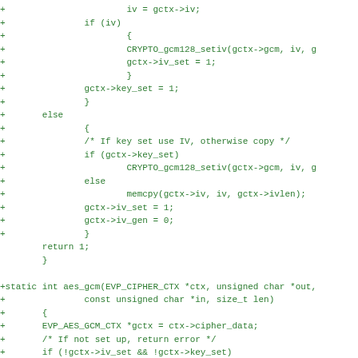[Figure (other): Code diff showing C source code additions for GCM AES cipher functions including iv assignment, CRYPTO_gcm128_setiv calls, key_set logic, else branch with memcpy, return 1, and aes_gcm static function definition with EVP_AES_GCM_CTX setup and error checks.]